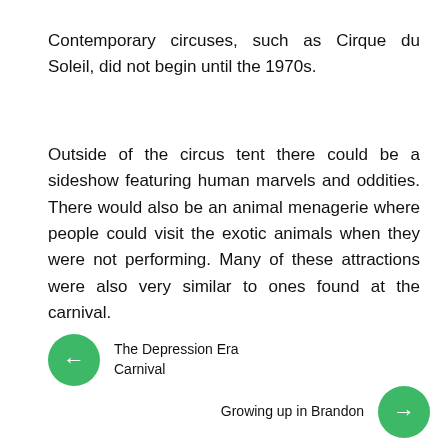Contemporary circuses, such as Cirque du Soleil, did not begin until the 1970s.
Outside of the circus tent there could be a sideshow featuring human marvels and oddities. There would also be an animal menagerie where people could visit the exotic animals when they were not performing. Many of these attractions were also very similar to ones found at the carnival.
← The Depression Era Carnival
Growing up in Brandon →